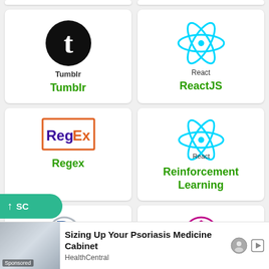[Figure (logo): Tumblr logo - black circle with white 't']
Tumblr
[Figure (logo): React logo - cyan atom symbol with 'React' text]
ReactJS
[Figure (logo): RegEx logo - orange bordered rectangle with purple/orange RegEx text]
Regex
[Figure (logo): React logo - cyan atom symbol with 'React' text]
Reinforcement Learning
[Figure (logo): R Programming logo - gray R with blue outline and 'Programming' text]
R Programming
[Figure (logo): RxJS logo - pink/magenta swirl circle with RxJS text]
RxJS
[Figure (infographic): Sponsored ad: Sizing Up Your Psoriasis Medicine Cabinet - HealthCentral]
Sizing Up Your Psoriasis Medicine Cabinet
HealthCentral